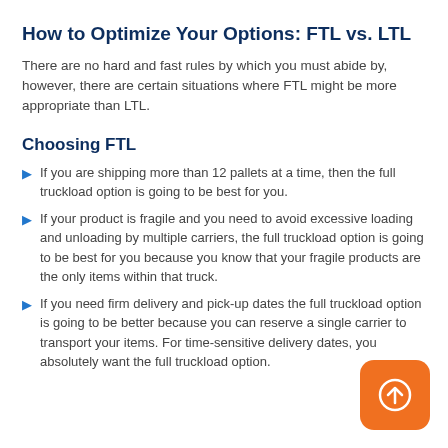How to Optimize Your Options: FTL vs. LTL
There are no hard and fast rules by which you must abide by, however, there are certain situations where FTL might be more appropriate than LTL.
Choosing FTL
If you are shipping more than 12 pallets at a time, then the full truckload option is going to be best for you.
If your product is fragile and you need to avoid excessive loading and unloading by multiple carriers, the full truckload option is going to be best for you because you know that your fragile products are the only items within that truck.
If you need firm delivery and pick-up dates the full truckload option is going to be better because you can reserve a single carrier to transport your items. For time-sensitive delivery dates, you absolutely want the full truckload option.